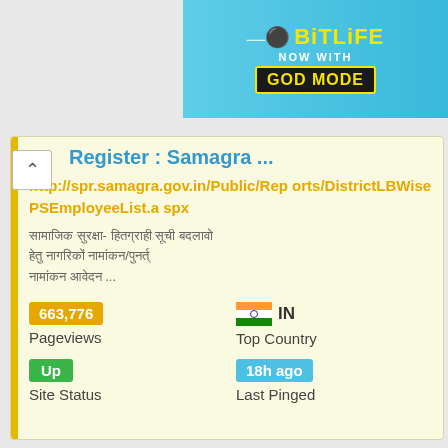[Figure (screenshot): BitLife advertisement banner — 'NOW WITH GOD MODE' on blue/teal background]
Register : Samagra ...
http://spr.samagra.gov.in/Public/Reports/DistrictLBWisePSEmployeeList.aspx
[Hindi text describing employee register content]
| 663,776 | IN |
| Pageviews | Top Country |
| Up | 18h ago |
| Site Status | Last Pinged |